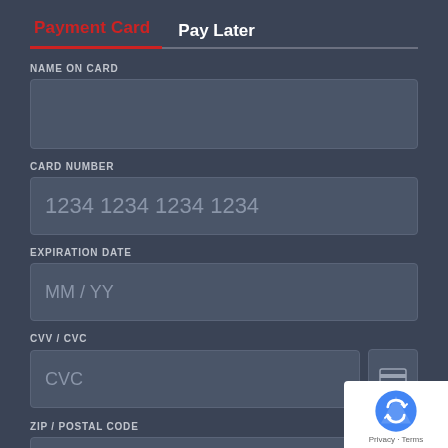Payment Card | Pay Later
NAME ON CARD
CARD NUMBER
1234 1234 1234 1234
EXPIRATION DATE
MM / YY
CVV / CVC
CVC
ZIP / POSTAL CODE
90210